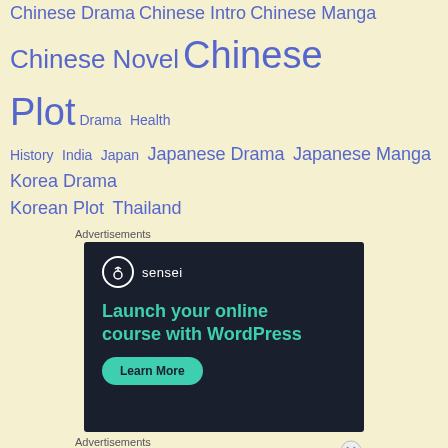Chinese Drama Chinese Intro Chinese Manga Chinese Novel Chinese Plot Drama Health History India Japan Japanese Drama Japanese Manga Korea Drama Korean Plot Thailand
Advertisements
[Figure (illustration): Sensei advertisement: dark navy background with Sensei logo (tree icon in circle), headline 'Launch your online course with WordPress', and 'Learn More' teal rounded button]
Advertisements
[Figure (photo): MAC cosmetics advertisement showing lipsticks in purple, pink, and red shades with MAC logo and 'SHOP NOW' text]